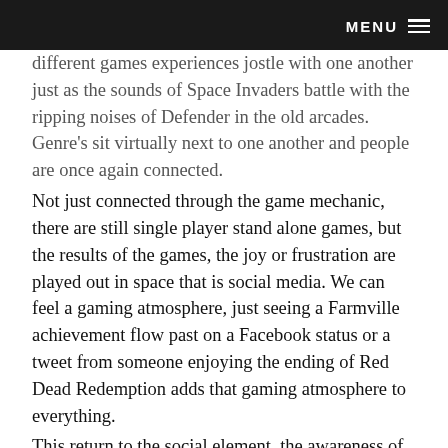MENU ≡
different games experiences jostle with one another just as the sounds of Space Invaders battle with the ripping noises of Defender in the old arcades. Genre's sit virtually next to one another and people are once again connected.
Not just connected through the game mechanic, there are still single player stand alone games, but the results of the games, the joy or frustration are played out in space that is social media. We can feel a gaming atmosphere, just seeing a Farmville achievement flow past on a Facebook status or a tweet from someone enjoying the ending of Red Dead Redemption adds that gaming atmosphere to everything.
This return to the social element, the awareness of others experiences and the sharing of common interests is a cultural win for games. For games developers though this is going to be now...